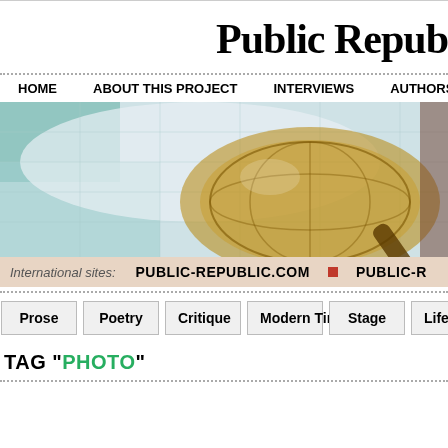Public Republic
HOME   ABOUT THIS PROJECT   INTERVIEWS   AUTHORS   EDIT
[Figure (photo): Close-up photo of a globe and compass on a map, teal/blue tones]
International sites:   PUBLIC-REPUBLIC.COM   PUBLIC-R
Prose   Poetry   Critique   Modern Times   Stage   Lifestyle   Humor
TAG "PHOTO"